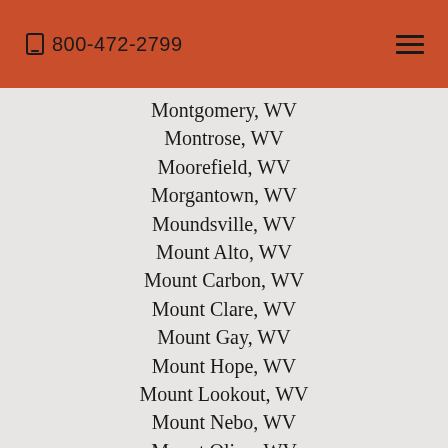800-472-2799
Montgomery, WV
Montrose, WV
Moorefield, WV
Morgantown, WV
Moundsville, WV
Mount Alto, WV
Mount Carbon, WV
Mount Clare, WV
Mount Gay, WV
Mount Hope, WV
Mount Lookout, WV
Mount Nebo, WV
Mount Olive, WV
Mount Storm, WV
Mount Zion, WV
Mountain, WV
Mullens, WV
Munday, WV